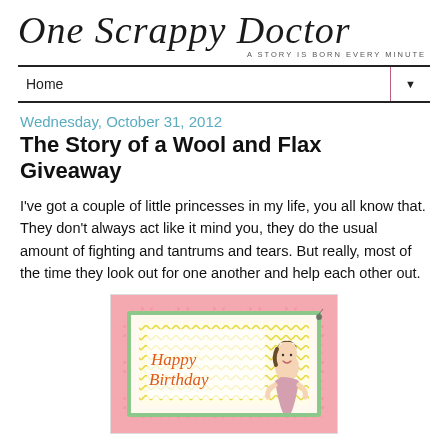One Scrappy Doctor — A STORY IS BORN EVERY MINUTE
Home
Wednesday, October 31, 2012
The Story of a Wool and Flax Giveaway
I've got a couple of little princesses in my life, you all know that. They don't always act like it mind you, they do the usual amount of fighting and tantrums and tears. But really, most of the time they look out for one another and help each other out.
[Figure (photo): A handmade birthday card with pink scalloped border, polka dot background, green and yellow patterned inner frame, 'Happy Birthday' text in orange cursive, and a cute cartoon girl doll figure on the right side.]